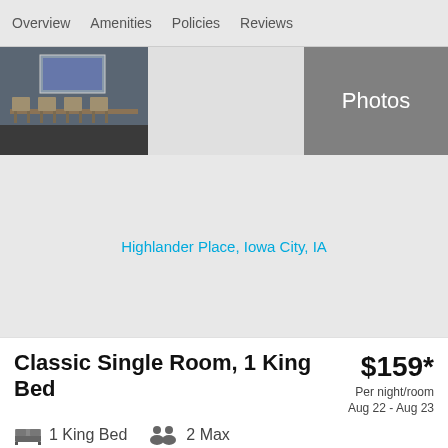Overview   Amenities   Policies   Reviews
[Figure (photo): Hotel room photo strip showing a dining/meeting room with chairs on left, blank center section, and a Photos button on the right]
[Figure (map): Map area showing hotel location]
Highlander Place, Iowa City, IA
Classic Single Room, 1 King Bed
$159*
Per night/room
Aug 22 - Aug 23
1 King Bed   2 Max
CHECK AVAILABILITY
Check availability